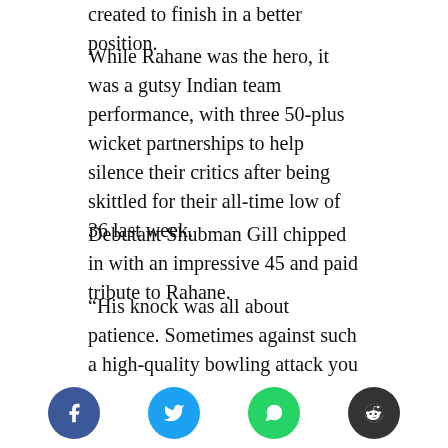created to finish in a better position.
While Rahane was the hero, it was a gutsy Indian team performance, with three 50-plus wicket partnerships to help silence their critics after being skittled for their all-time low of 36 last week.
Debutant Shubman Gill chipped in with an impressive 45 and paid tribute to Rahane.
“His knock was all about patience. Sometimes against such a high-quality bowling attack you go into your shell and then you’re not able to score runs,” he said.
“The way Ajinkya played, it was such a magnificent knock to watch, the way he saw off the tough periods
[Figure (infographic): Social sharing buttons: Facebook (blue circle with f), Twitter (cyan circle with bird), WhatsApp (green circle with phone), Reddit (dark circle with alien logo)]